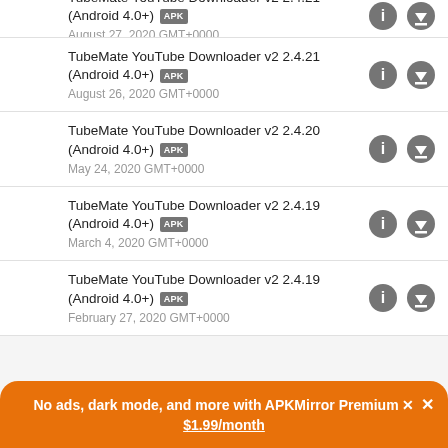TubeMate YouTube Downloader v2 2.4.21 (Android 4.0+) APK — August 27, 2020 GMT+0000
TubeMate YouTube Downloader v2 2.4.21 (Android 4.0+) APK — August 26, 2020 GMT+0000
TubeMate YouTube Downloader v2 2.4.20 (Android 4.0+) APK — May 24, 2020 GMT+0000
TubeMate YouTube Downloader v2 2.4.19 (Android 4.0+) APK — March 4, 2020 GMT+0000
TubeMate YouTube Downloader v2 2.4.19 (Android 4.0+) APK — February 27, 2020 GMT+0000
No ads, dark mode, and more with APKMirror Premium × $1.99/month